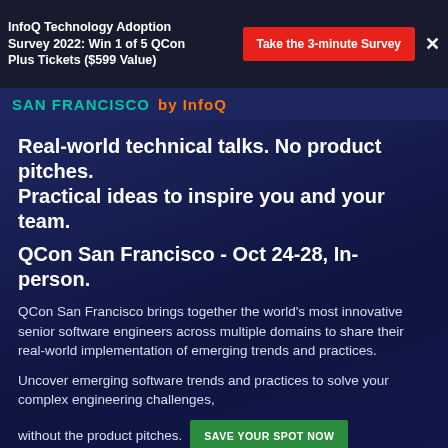InfoQ Technology Adoption Survey 2022: Win 1 of 5 QCon Plus Tickets ($599 Value)
Real-world technical talks. No product pitches.
Practical ideas to inspire you and your team.
QCon San Francisco - Oct 24-28, In-person.
QCon San Francisco brings together the world's most innovative senior software engineers across multiple domains to share their real-world implementation of emerging trends and practices.
Uncover emerging software trends and practices to solve your complex engineering challenges,
without the product pitches.